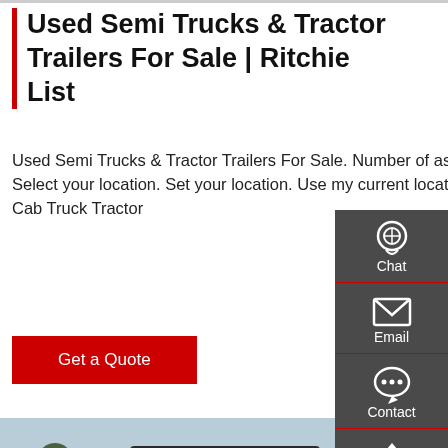Used Semi Trucks & Tractor Trailers For Sale | Ritchie List
Used Semi Trucks & Tractor Trailers For Sale. Number of assets: 486. Get new listing alerts. 1 2 3.. 24. Your Location Select your location. Set your location. Use my current location. Save. Sort by: 2018 International LT625 6x4 T/A Day Cab Truck Tractor
Get a Quote
[Figure (photo): Front view of a HOWO semi truck (Chinese brand, with Chinese characters on the cab roof panel), surrounded by trees, with other trucks visible in the background.]
[Figure (infographic): Dark gray sidebar with four icon buttons: Chat (headset icon), Email (envelope icon), Contact (speech bubble icon), Top (upward arrow icon), each separated by a red horizontal line.]